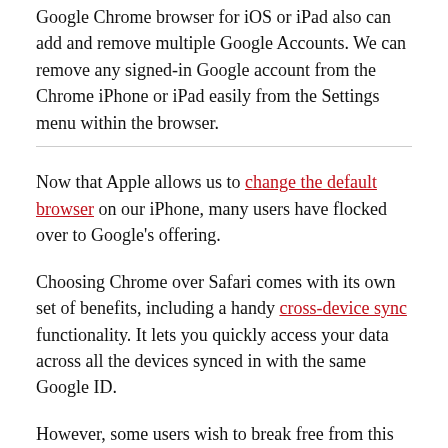Google Chrome browser for iOS or iPad also can add and remove multiple Google Accounts. We can remove any signed-in Google account from the Chrome iPhone or iPad easily from the Settings menu within the browser.
Now that Apple allows us to change the default browser on our iPhone, many users have flocked over to Google's offering.
Choosing Chrome over Safari comes with its own set of benefits, including a handy cross-device sync functionality. It lets you quickly access your data across all the devices synced in with the same Google ID.
However, some users wish to break free from this data sync feature, but at the same time, they still want to stick with the Chrome browser. Quite recently, one of my